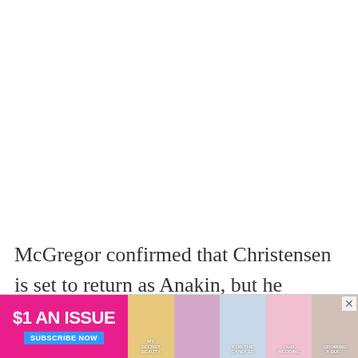McGregor confirmed that Christensen is set to return as Anakin, but he refused to reveal any additional details about what might happen in
[Figure (other): Advertisement banner: '$1 AN ISSUE - SUBSCRIBE NOW' in pink/magenta background with blue subscribe button, alongside magazine cover images]